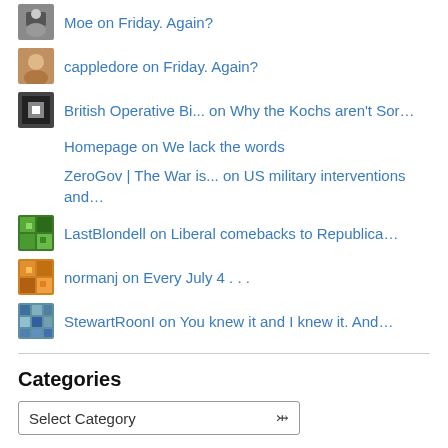Moe on Friday. Again?
cappledore on Friday. Again?
British Operative Bi... on Why the Kochs aren't Sor...
Homepage on We lack the words
ZeroGov | The War is... on US military interventions and...
LastBlondell on Liberal comebacks to Republica...
normanj on Every July 4 . . .
StewartRoonI on You knew it and I knew it. And...
Categories
Select Category
Blogroll
A Feather Adrift
A Frank Angle